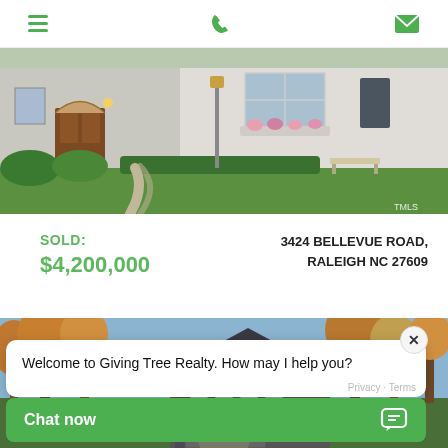Navigation bar with hamburger menu, phone icon, and mail icon
[Figure (photo): Exterior photo of a brick home with wooden front door, stone path, lush green lawn and flower gardens. TMLS watermark in bottom right.]
SOLD: $4,200,000
3424 BELLEVUE ROAD, RALEIGH NC 27609
[Figure (photo): Exterior photo of a large estate home surrounded by mature trees with autumn foliage and a blue sky background.]
Welcome to Giving Tree Realty. How may I help you?
Chat now